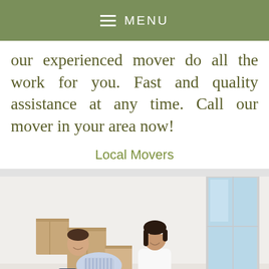MENU
our experienced mover do all the work for you. Fast and quality assistance at any time. Call our mover in your area now!
Local Movers
[Figure (photo): A couple sitting back-to-back on the floor surrounded by cardboard moving boxes in an empty room with a window]